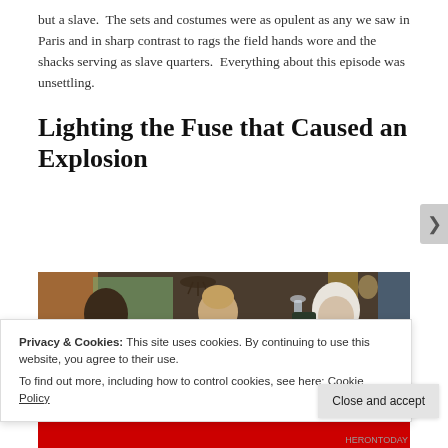but a slave.  The sets and costumes were as opulent as any we saw in Paris and in sharp contrast to rags the field hands wore and the shacks serving as slave quarters.  Everything about this episode was unsettling.
Lighting the Fuse that Caused an Explosion
[Figure (photo): A period scene with three figures in 18th/19th century dress: a Black man in a tan coat with orange cravat on the left, a white woman in a pink/beige dress in the center, and an older white man in a white wig on the right holding up a glass. A chandelier and ornate interior visible in background.]
Privacy & Cookies: This site uses cookies. By continuing to use this website, you agree to their use.
To find out more, including how to control cookies, see here: Cookie Policy